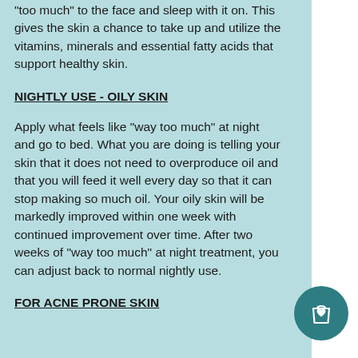“too much” to the face and sleep with it on. This gives the skin a chance to take up and utilize the vitamins, minerals and essential fatty acids that support healthy skin.
NIGHTLY USE - OILY SKIN
Apply what feels like “way too much” at night and go to bed. What you are doing is telling your skin that it does not need to overproduce oil and that you will feed it well every day so that it can stop making so much oil. Your oily skin will be markedly improved within one week with continued improvement over time. After two weeks of “way too much” at night treatment, you can adjust back to normal nightly use.
FOR ACNE PRONE SKIN
[Figure (illustration): Teal circular icon with a shopping bag symbol and a heart]